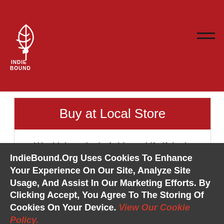[Figure (logo): IndieBound logo: stylized bird/book graphic in white on dark red background, with text INDIE BOUND below]
Buy at Local Store
We think you're in Ashburn, VA. If that's not right, click the "Reset" button below to search by ZIP.
Bespoke Books and Archives
7 E. Market Street, #101
IndieBound.Org Uses Cookies To Enhance Your Experience On Our Site, Analyze Site Usage, And Assist In Our Marketing Efforts. By Clicking Accept, You Agree To The Storing Of Cookies On Your Device. View Our Cookie Policy.
Give me more info
Accept all Cookies